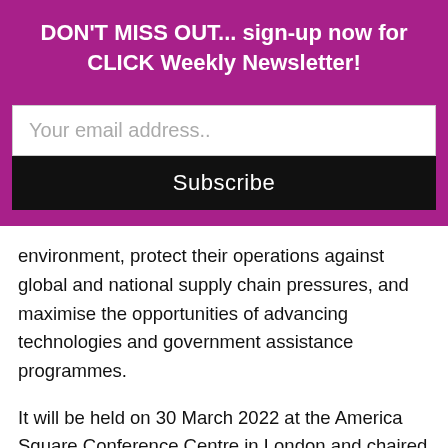DON'T MISS OUT... sign-up now for CLICK Weekly Newsletter!
Your email address..
Subscribe
environment, protect their operations against global and national supply chain pressures, and maximise the opportunities of advancing technologies and government assistance programmes.
It will be held on 30 March 2022 at the America Square Conference Centre in London and chaired by Phil Roe, Chief Customer Officer at DHL Supply Chain. Expert speakers including Professor Alan McKinnon will examine industry resilience post-COVID-19 and reflect on lessons learned; and the ongoing implications of the UK's departure